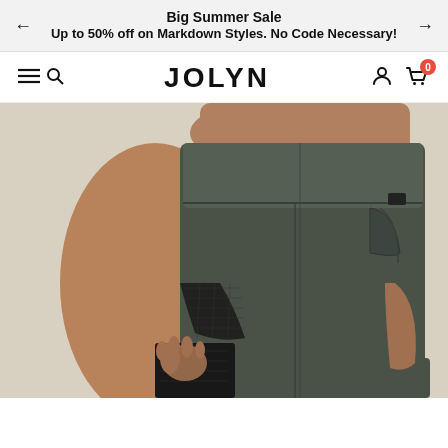Big Summer Sale
Up to 50% off on Markdown Styles. No Code Necessary!
[Figure (logo): JOLYN brand navigation bar with hamburger/search icon on left, JOLYN text logo in center, user account and shopping cart (badge: 0) icons on right]
[Figure (photo): Back view of a woman wearing dark olive/charcoal green high-waist leggings with mesh cutout panels on lower left leg, black contrast mesh panel detail. Photo cropped at waist to ankle area.]